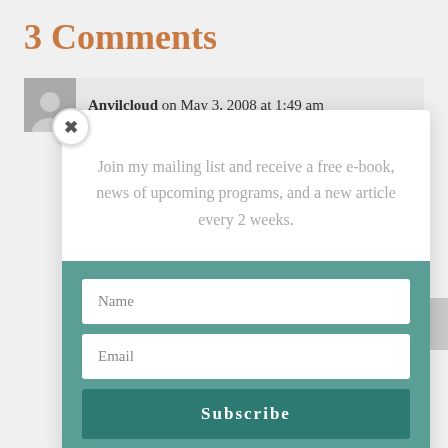3 Comments
Anvilcloud on May 3, 2008 at 1:49 am
Join my mailing list and receive a free e-book, news of upcoming programs, and a new article every 2 weeks.
Name
Email
Subscribe